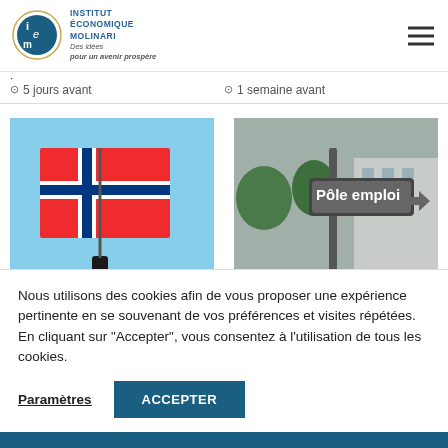[Figure (logo): IEM Institut Économique Molinari logo with tagline 'Des idées pour un avenir prospère']
5 jours avant
1 semaine avant
[Figure (photo): Person waving a Norwegian flag against blue sky]
[Figure (photo): Street sign reading 'Pôle emploi' in urban setting]
Pourquoi la France devrait
Les trois clefs d'un marché
Nous utilisons des cookies afin de vous proposer une expérience pertinente en se souvenant de vos préférences et visites répétées. En cliquant sur "Accepter", vous consentez à l'utilisation de tous les cookies.
Paramètres
ACCEPTER